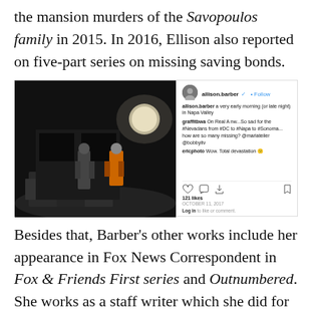the mansion murders of the Savopoulos family in 2015. In 2016, Ellison also reported on five-part series on missing saving bonds.
[Figure (screenshot): Instagram post by allison.barber showing a dark nighttime photo of firefighters at a fire scene with rubble. The Instagram post includes comments and engagement icons.]
Besides that, Barber's other works include her appearance in Fox News Correspondent in Fox & Friends First series and Outnumbered. She works as a staff writer which she did for The Washington Free Beacon website her early jobs